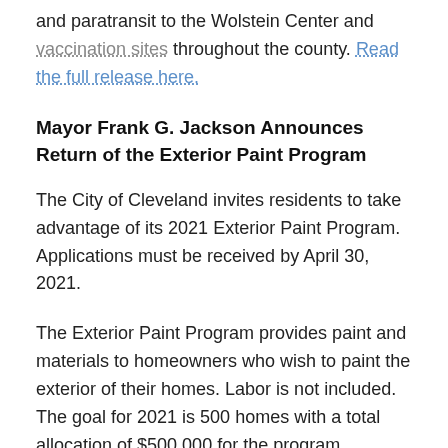and paratransit to the Wolstein Center and vaccination sites throughout the county. Read the full release here.
Mayor Frank G. Jackson Announces Return of the Exterior Paint Program
The City of Cleveland invites residents to take advantage of its 2021 Exterior Paint Program. Applications must be received by April 30, 2021.
The Exterior Paint Program provides paint and materials to homeowners who wish to paint the exterior of their homes. Labor is not included. The goal for 2021 is 500 homes with a total allocation of $500,000 for the program.
“The goal of this program is to help residents protect their home investments, improve housing stock in our neighborhoods and create a better, more equitable quality…